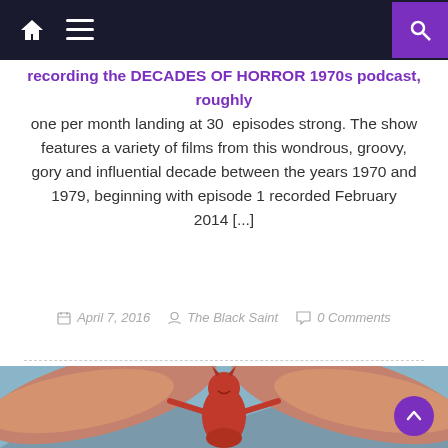Navigation bar with home icon, menu icon, and search icon
recording the DECADES OF HORROR 1970s podcast, roughly one per month landing at 30 episodes strong. The show features a variety of films from this wondrous, groovy, gory and influential decade between the years 1970 and 1979, beginning with episode 1 recorded February 2014 [...]
April 7, 2016   The Black Saint   0 Comments
[Figure (photo): A red devil costume figure with bat wings spread wide, smiling, posed against a mountainous sky background. Movie still or figurine from a horror film.]